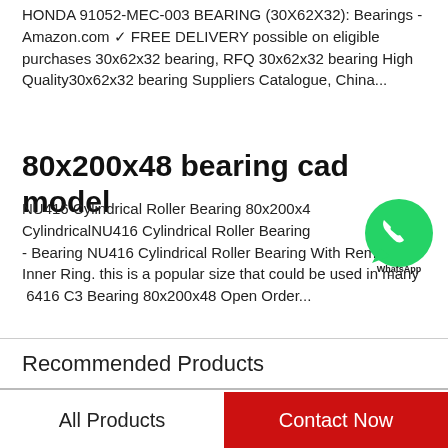HONDA 91052-MEC-003 BEARING (30X62X32): Bearings - Amazon.com ✓ FREE DELIVERY possible on eligible purchases 30x62x32 bearing, RFQ 30x62x32 bearing High Quality30x62x32 bearing Suppliers Catalogue, China...
80x200x48 bearing cad model
NU416 Cylindrical Roller Bearing 80x200x48 CylindricalNU416 Cylindrical Roller Bearing - Bearing NU416 Cylindrical Roller Bearing With Removable Inner Ring. this is a popular size that could be used in many  6416 C3 Bearing 80x200x48 Open Order...
[Figure (logo): WhatsApp green circle icon with phone symbol and 'WhatsApp Online' text overlay]
Recommended Products
All Products
Contact Now